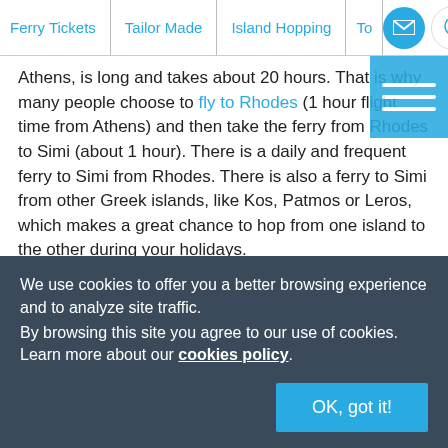Ferry Tickets | Tailor Made | Island Hopping | To...
Athens, is long and takes about 20 hours. That is why many people choose to fly to Rhodes (1 hour flight time from Athens) and then take the ferry from Rhodes to Simi (about 1 hour). There is a daily and frequent ferry to Simi from Rhodes. There is also a ferry to Simi from other Greek islands, like Kos, Patmos or Leros, which makes a great chance to hop from one island to the other during your holidays.
Note that Symi has 2 ports: Symi town and Panormitis.
We use cookies to offer you a better browsing experience and to analyze site traffic. By browsing this site you agree to our use of cookies. Learn more about our cookies policy
OK, got it!